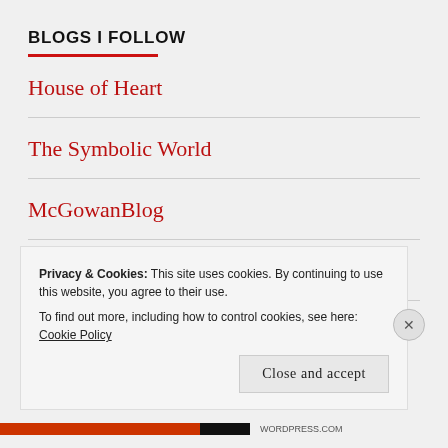BLOGS I FOLLOW
House of Heart
The Symbolic World
McGowanBlog
The Paltry Sum
Polysemic Stupor
Privacy & Cookies: This site uses cookies. By continuing to use this website, you agree to their use.
To find out more, including how to control cookies, see here: Cookie Policy
Close and accept